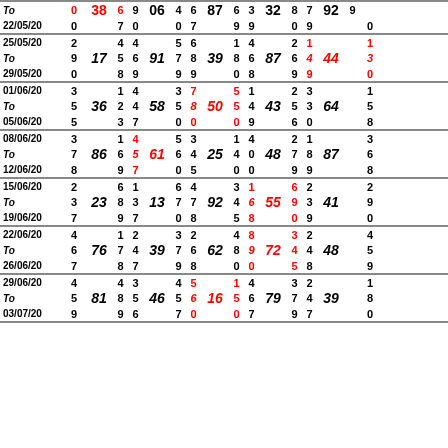| To | 0 | 38 | 6 | 9 | 06 | 4 | 6 | 87 | 6 | 3 | 32 | 8 | 7 | 92 | 9 |
| 22/05/20 | 0 |  | 7 | 0 |  | 0 | 7 |  | 9 | 9 |  | 0 | 9 |  | 0 |
| 25/05/20 | 2 |  | 4 | 4 |  | 5 | 6 |  | 1 | 4 |  | 2 | 1 |  | 1 |
| To | 9 | 17 | 5 | 6 | 91 | 7 | 8 | 39 | 8 | 6 | 87 | 6 | 4 | 44 | 3 |
| 29/05/20 | 0 |  | 8 | 9 |  | 9 | 9 |  | 0 | 8 |  | 9 | 9 |  | 0 |
| 01/06/20 | 3 |  | 1 | 4 |  | 3 | 7 |  | 5 | 1 |  | 2 | 3 |  | 1 |
| To | 5 | 36 | 2 | 4 | 58 | 5 | 8 | 50 | 5 | 4 | 43 | 5 | 3 | 64 | 5 |
| 05/06/20 | 5 |  | 3 | 7 |  | 0 | 0 |  | 0 | 9 |  | 6 | 0 |  | 8 |
| 08/06/20 | 3 |  | 1 | 4 |  | 5 | 3 |  | 1 | 4 |  | 2 | 1 |  | 3 |
| To | 7 | 86 | 6 | 5 | 61 | 6 | 4 | 25 | 4 | 0 | 48 | 7 | 8 | 87 | 6 |
| 12/06/20 | 8 |  | 9 | 7 |  | 0 | 5 |  | 0 | 0 |  | 9 | 9 |  | 8 |
| 15/06/20 | 2 |  | 6 | 1 |  | 6 | 4 |  | 3 | 1 |  | 6 | 2 |  | 2 |
| To | 3 | 23 | 8 | 3 | 13 | 7 | 7 | 92 | 4 | 6 | 55 | 9 | 3 | 41 | 9 |
| 19/06/20 | 7 |  | 9 | 7 |  | 0 | 8 |  | 5 | 8 |  | 0 | 9 |  | 0 |
| 22/06/20 | 4 |  | 1 | 2 |  | 3 | 2 |  | 4 | 8 |  | 3 | 2 |  | 4 |
| To | 6 | 76 | 7 | 4 | 39 | 7 | 6 | 62 | 8 | 9 | 72 | 4 | 4 | 48 | 5 |
| 26/06/20 | 7 |  | 8 | 7 |  | 9 | 8 |  | 0 | 0 |  | 5 | 8 |  | 9 |
| 29/06/20 | 4 |  | 4 | 3 |  | 4 | 5 |  | 1 | 4 |  | 3 | 2 |  | 1 |
| To | 5 | 81 | 8 | 5 | 46 | 5 | 6 | 16 | 5 | 6 | 79 | 7 | 4 | 39 | 8 |
| 03/07/20 | 9 |  | 9 | 6 |  | 7 | 0 |  | 0 | 7 |  | 9 | 7 |  | 0 |